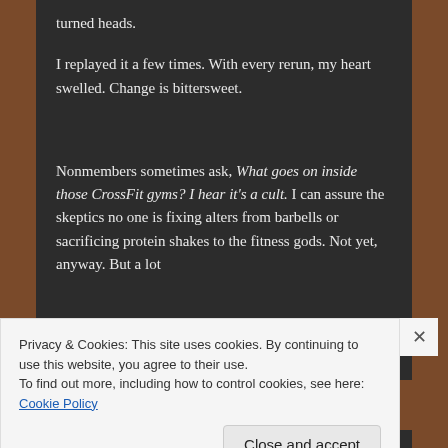turned heads.
I replayed it a few times. With every rerun, my heart swelled. Change is bittersweet.
Nonmembers sometimes ask, What goes on inside those CrossFit gyms? I hear it's a cult. I can assure the skeptics no one is fixing alters from barbells or sacrificing protein shakes to the fitness gods. Not yet, anyway. But a lot
Privacy & Cookies: This site uses cookies. By continuing to use this website, you agree to their use.
To find out more, including how to control cookies, see here: Cookie Policy
Close and accept